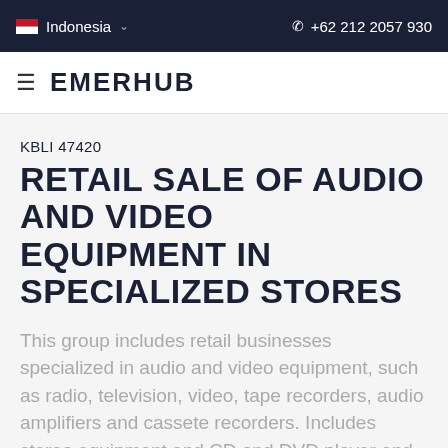Indonesia  +62 212 2057 930
EMERHUB
KBLI 47420
RETAIL SALE OF AUDIO AND VIDEO EQUIPMENT IN SPECIALIZED STORES
This group includes retail businesses specialized in audio and video equipment, such as radio, television, video, tape recorders, audio amplifiers and cassete recorders. Includes stereo equipment and CD and DVD player and